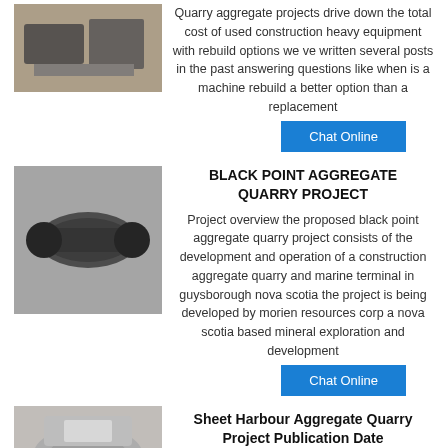[Figure (photo): Industrial equipment in a warehouse/factory setting]
Quarry aggregate projects drive down the total cost of used construction heavy equipment with rebuild options we ve written several posts in the past answering questions like when is a machine rebuild a better option than a replacement
Chat Online
[Figure (photo): Large industrial cylinder/drum equipment on the floor]
BLACK POINT AGGREGATE QUARRY PROJECT
Project overview the proposed black point aggregate quarry project consists of the development and operation of a construction aggregate quarry and marine terminal in guysborough nova scotia the project is being developed by morien resources corp a nova scotia based mineral exploration and development
Chat Online
[Figure (photo): Industrial quarry/mining machinery close-up]
Sheet Harbour Aggregate Quarry Project Publication Date